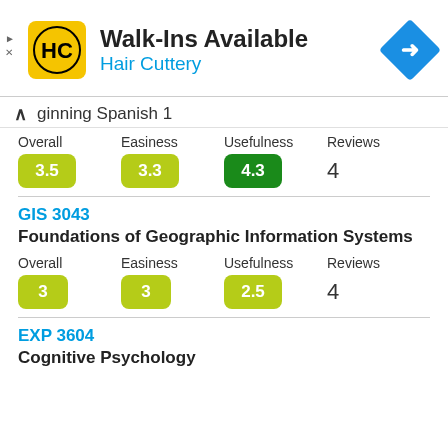[Figure (infographic): Hair Cuttery advertisement banner with logo, Walk-Ins Available headline, and direction icon]
Beginning Spanish 1
| Overall | Easiness | Usefulness | Reviews |
| --- | --- | --- | --- |
| 3.5 | 3.3 | 4.3 | 4 |
GIS 3043
Foundations of Geographic Information Systems
| Overall | Easiness | Usefulness | Reviews |
| --- | --- | --- | --- |
| 3 | 3 | 2.5 | 4 |
EXP 3604
Cognitive Psychology